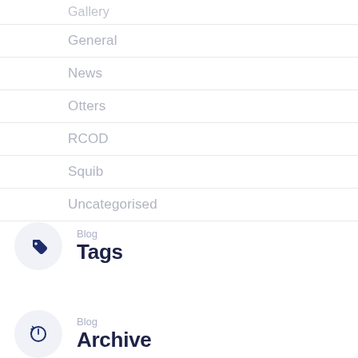Gallery
General
News
Otters
RCOD
Squib
Uncategorised
Blog Tags
Blog Archive